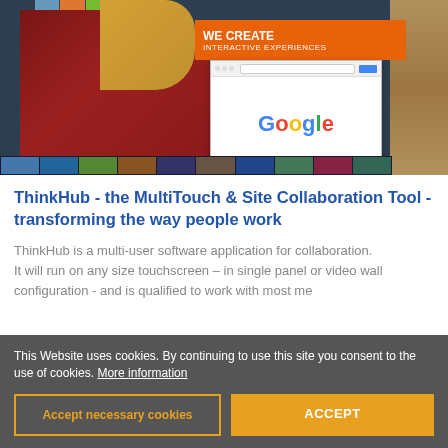[Figure (photo): Woman with blonde hair in dark red top touching a large interactive touchscreen wall displaying multiple screens including a Google browser window and an orange banner reading WE CREATE INTERACTIVE EXPERIENCES]
ThinkHub - the MultiTouch & Site Collaboration Tool - transforming the way people work
ThinkHub is a multi-user software application for collaboration.
It will run on any size touchscreen – in single panel or video wall configuration - and is qualified to work with most me
This Website uses cookies. By continuing to use this site you consent to the use of cookies. More information
Accept necessary cookies
ACCEPT